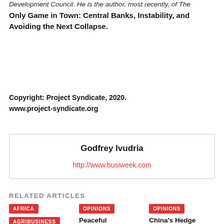Development Council. He is the author, most recently, of The Only Game in Town: Central Banks, Instability, and Avoiding the Next Collapse.
Copyright: Project Syndicate, 2020.
www.project-syndicate.org
Godfrey Ivudria
http://www.busiweek.com
RELATED ARTICLES
AFRICA | AGRIBUSINESS
OPINIONS | Peaceful Coexistence 2.0 | 11th April 2019
OPINIONS | China's Hedge Against Geopolitical